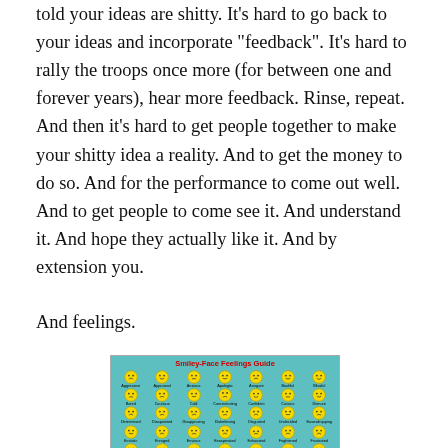told your ideas are shitty. It’s hard to go back to your ideas and incorporate “feedback”. It’s hard to rally the troops once more (for between one and forever years), hear more feedback. Rinse, repeat. And then it’s hard to get people together to make your shitty idea a reality. And to get the money to do so. And for the performance to come out well. And to get people to come see it. And understand it. And hope they actually like it. And by extension you.
And feelings.
[Figure (illustration): Smiley-Face Feelings Guide: a teal/turquoise grid chart showing rows of yellow smiley face emoji icons each labeled with a feeling word such as Aggressive, Appraised, Anxious, Apolegtic, Arrogant, Bashful, Blissful, Bored, Cautious, Cold, Concentrating, Confident, Curious, Demure, Determined, Disappointed, Disapproving, Disbelieving, Disgusted, Undecided, Eavesdropping, Ecstatic, Enraged, Envious, Exasperated, Exhausted, Frightened, Frustrated, Grieving, Guilty, Happy, Horrified, Hot, Nauseous, Hurt.]